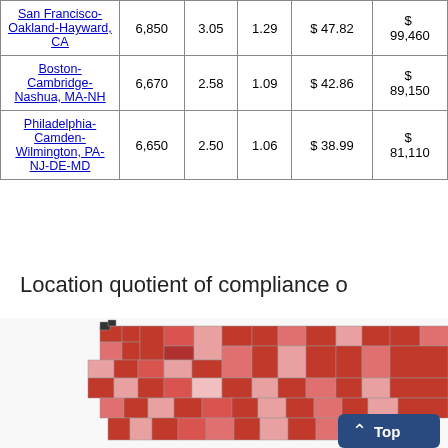| Metro Area | Employment | % of Industry | Location Quotient | Hourly Mean Wage | Annual Mean Wage |
| --- | --- | --- | --- | --- | --- |
| San Francisco-Oakland-Hayward, CA | 6,850 | 3.05 | 1.29 | $ 47.82 | $ 99,460 |
| Boston-Cambridge-Nashua, MA-NH | 6,670 | 2.58 | 1.09 | $ 42.86 | $ 89,150 |
| Philadelphia-Camden-Wilmington, PA-NJ-DE-MD | 6,650 | 2.50 | 1.06 | $ 38.99 | $ 81,110 |
Location quotient of compliance o...
[Figure (map): Choropleth map of the United States showing location quotient of compliance officers by county/region, shaded in varying intensities of red/pink indicating concentration levels.]